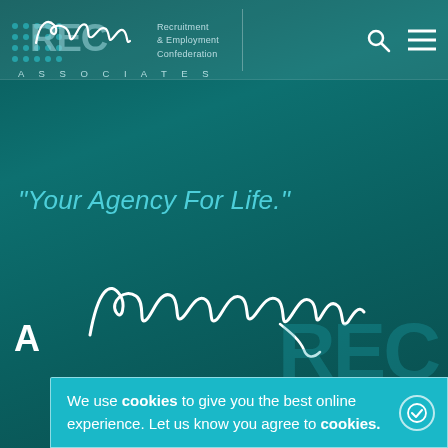[Figure (logo): Paul McAteer Associates logo with REC (Recruitment & Employment Confederation) badge, signature, dot grid, search and menu icons in teal header]
"Your Agency For Life."
[Figure (illustration): Large handwritten signature of Paul McAteer in white on dark teal background]
We use cookies to give you the best online experience. Let us know you agree to cookies.